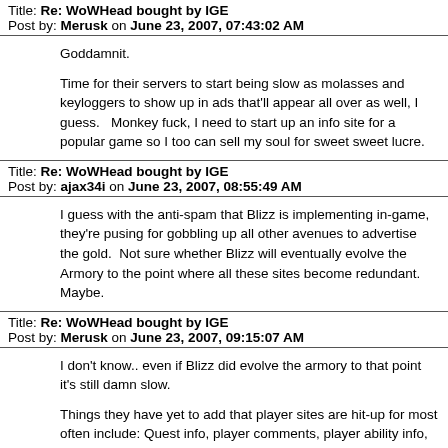Title: Re: WoWHead bought by IGE
Post by: Merusk on June 23, 2007, 07:43:02 AM
Goddamnit.

Time for their servers to start being slow as molasses and keyloggers to show up in ads that'll appear all over as well, I guess.   Monkey fuck, I need to start up an info site for a popular game so I too can sell my soul for sweet sweet lucre.
Title: Re: WoWHead bought by IGE
Post by: ajax34i on June 23, 2007, 08:55:49 AM
I guess with the anti-spam that Blizz is implementing in-game, they're pusing for gobbling up all other avenues to advertise the gold.  Not sure whether Blizz will eventually evolve the Armory to the point where all these sites become redundant.  Maybe.
Title: Re: WoWHead bought by IGE
Post by: Merusk on June 23, 2007, 09:15:07 AM
I don't know.. even if Blizz did evolve the armory to that point it's still damn slow.

Things they have yet to add that player sites are hit-up for most often include: Quest info, player comments, player ability info, mob info, boss mob ability and...